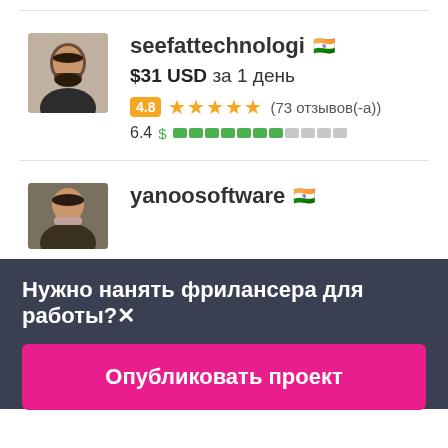[Figure (photo): Profile photo of seefattechnologi - man with beard]
seefattechnologi 🇮🇳
$31 USD за 1 день
4.8 ★★★★★ (73 отзывов(-а))
6.4
[Figure (photo): Profile photo of yanoosoftware - man]
yanoosoftware 🇮🇳
Нужно нанять фрилансера для работы?✕
Опубликовать проект